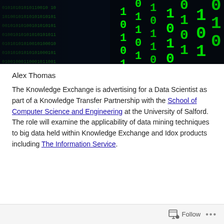[Figure (photo): Dark banner image showing green binary code (0s and 1s) on a dark blue/black background, styled as a matrix-like digital data visualization.]
Alex Thomas
The Knowledge Exchange is advertising for a Data Scientist as part of a Knowledge Transfer Partnership with the School of Computer Science and Engineering at the University of Salford. The role will examine the applicability of data mining techniques to big data held within Knowledge Exchange and Idox products including The Information Service.
Follow ...